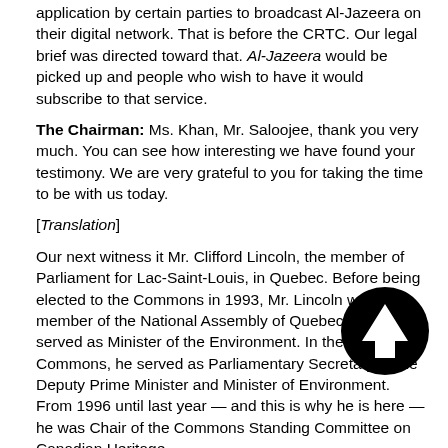application by certain parties to broadcast Al-Jazeera on their digital network. That is before the CRTC. Our legal brief was directed toward that. Al-Jazeera would be picked up and people who wish to have it would subscribe to that service.
The Chairman: Ms. Khan, Mr. Saloojee, thank you very much. You can see how interesting we have found your testimony. We are very grateful to you for taking the time to be with us today.
[Translation]
Our next witness it Mr. Clifford Lincoln, the member of Parliament for Lac-Saint-Louis, in Quebec. Before being elected to the Commons in 1993, Mr. Lincoln was a member of the National Assembly of Quebec, were he served as Minister of the Environment. In the House of Commons, he served as Parliamentary Secretary to the Deputy Prime Minister and Minister of Environment. From 1996 until last year — and this is why he is here — he was Chair of the Commons Standing Committee on Canadian Heritage.
[English]
We will all recall that last year the Commons Heritage Committee completed a massive study of the Canadian broadcasting system. When I say massive, I mean huge; it is bigger than the telephone book. It covered an enormous range.
[Figure (illustration): Black circle with white upward-pointing arrow icon]